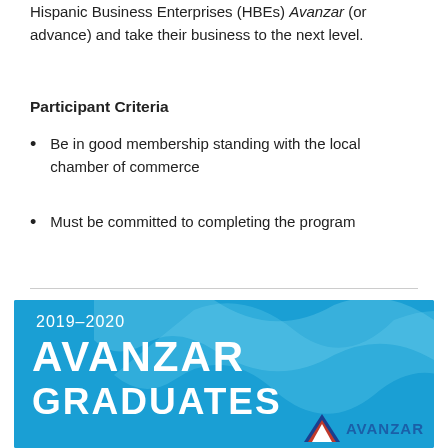Hispanic Business Enterprises (HBEs) Avanzar (or advance) and take their business to the next level.
Participant Criteria
Be in good membership standing with the local chamber of commerce
Must be committed to completing the program
[Figure (illustration): 2019–2020 Avanzar Graduates promotional banner with blue background, wave design, large white text reading AVANZAR GRADUATES, and Avanzar logo at bottom right]